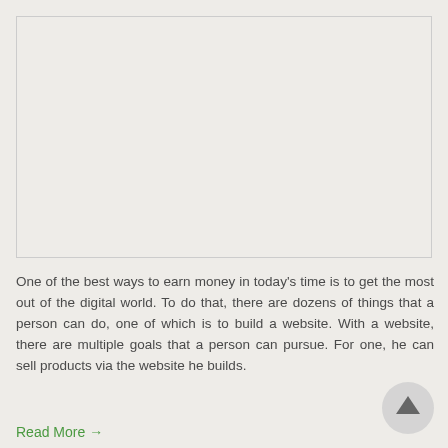[Figure (other): Empty placeholder image box with light beige background and thin border]
One of the best ways to earn money in today's time is to get the most out of the digital world. To do that, there are dozens of things that a person can do, one of which is to build a website. With a website, there are multiple goals that a person can pursue. For one, he can sell products via the website he builds.
Read More →